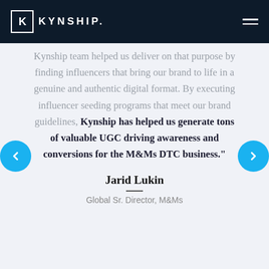KYNSHIP.
Kynship team helped us deliver on that purpose by finding influencers that bring our brand to life in a genuine and authentic digital format. By executing influencer seeding programs that meet our brand guidelines, Kynship has helped us generate tons of valuable UGC driving awareness and conversions for the M&Ms DTC business."
Jarid Lukin
Global Sr. Director, M&Ms